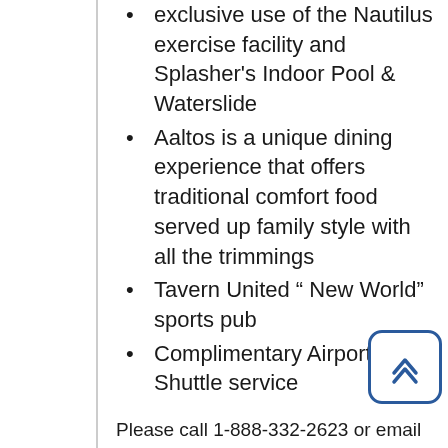exclusive use of the Nautilus exercise facility and Splasher's Indoor Pool & Waterslide
Aaltos is a unique dining experience that offers traditional comfort food served up family style with all the trimmings
Tavern United “ New World” sports pub
Complimentary Airport Shuttle service
Please call 1-888-332-2623 or email sales@canadinns.com and mention the 9th International Indigenous Librarians Forum or IILF to book.